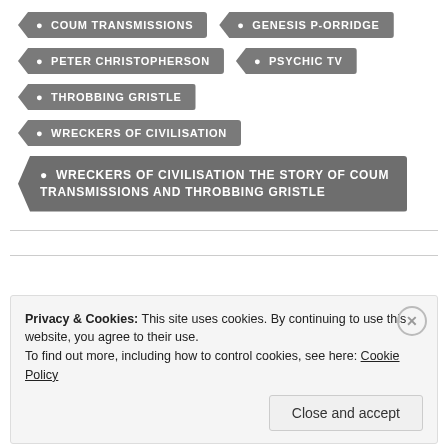COUM TRANSMISSIONS
GENESIS P-ORRIDGE
PETER CHRISTOPHERSON
PSYCHIC TV
THROBBING GRISTLE
WRECKERS OF CIVILISATION
WRECKERS OF CIVILISATION THE STORY OF COUM TRANSMISSIONS AND THROBBING GRISTLE
Privacy & Cookies: This site uses cookies. By continuing to use this website, you agree to their use. To find out more, including how to control cookies, see here: Cookie Policy
Close and accept